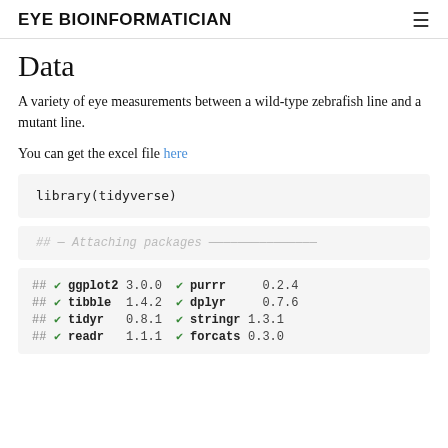EYE BIOINFORMATICIAN
Data
A variety of eye measurements between a wild-type zebrafish line and a mutant line.
You can get the excel file here
library(tidyverse)
## — Attaching packages —
## ✔ ggplot2 3.0.0   ✔ purrr   0.2.4
## ✔ tibble  1.4.2   ✔ dplyr   0.7.6
## ✔ tidyr   0.8.1   ✔ stringr 1.3.1
## ✔ readr   1.1.1   ✔ forcats 0.3.0